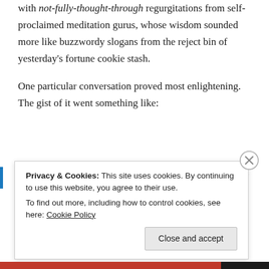with not-fully-thought-through regurgitations from self-proclaimed meditation gurus, whose wisdom sounded more like buzzwordy slogans from the reject bin of yesterday's fortune cookie stash.
One particular conversation proved most enlightening. The gist of it went something like:
Meditator: "How you perceive of the Self is an illusion."
Privacy & Cookies: This site uses cookies. By continuing to use this website, you agree to their use.
To find out more, including how to control cookies, see here: Cookie Policy